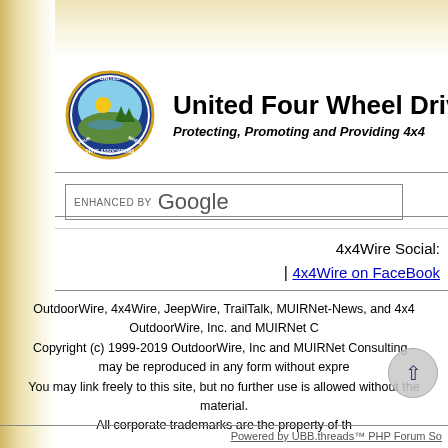[Figure (logo): United Four Wheel Drive Association circular logo with mountain/tree/water scene]
United Four Wheel Drive Associations
Protecting, Promoting and Providing 4x4
ENHANCED BY Google
4x4Wire Social: | 4x4Wire on FaceBook
OutdoorWire, 4x4Wire, JeepWire, TrailTalk, MIUIRNet-News, and 4x4 OutdoorWire, Inc. and MUIRNet C Copyright (c) 1999-2019 OutdoorWire, Inc and MUIRNet Consulting - may be reproduced in any form without expre You may link freely to this site, but no further use is allowed without the material. All corporate trademarks are the property of th
Powered by UBB.threads™ PHP Forum So